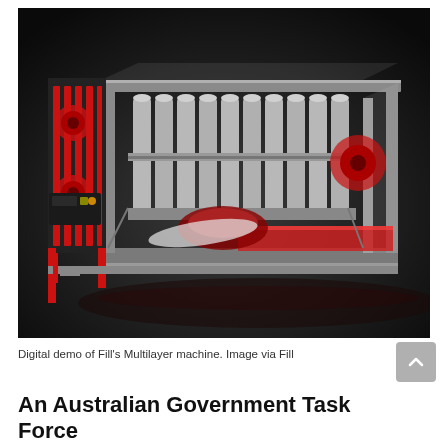[Figure (illustration): Digital 3D rendering of Fill's Multilayer machine — a large industrial machine with a transparent enclosure showing gray cylindrical rollers, red mechanical components on the left side, a control panel with small display, and red/gray structural frame elements on a dark background.]
Digital demo of Fill's Multilayer machine. Image via Fill
An Australian Government Task Force